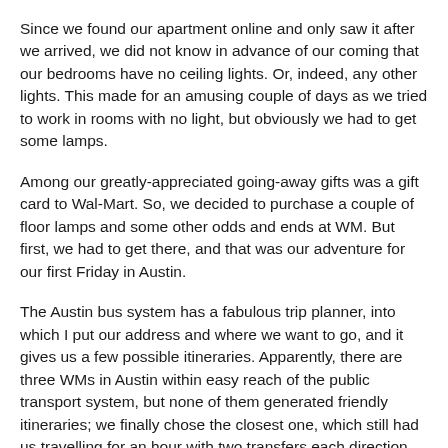Since we found our apartment online and only saw it after we arrived, we did not know in advance of our coming that our bedrooms have no ceiling lights. Or, indeed, any other lights. This made for an amusing couple of days as we tried to work in rooms with no light, but obviously we had to get some lamps.
Among our greatly-appreciated going-away gifts was a gift card to Wal-Mart. So, we decided to purchase a couple of floor lamps and some other odds and ends at WM. But first, we had to get there, and that was our adventure for our first Friday in Austin.
The Austin bus system has a fabulous trip planner, into which I put our address and where we want to go, and it gives us a few possible itineraries. Apparently, there are three WMs in Austin within easy reach of the public transport system, but none of them generated friendly itineraries; we finally chose the closest one, which still had us travelling for an hour with two transfers each direction. (BTW: This trip would be about 4 minutes if we were driving, Google Maps